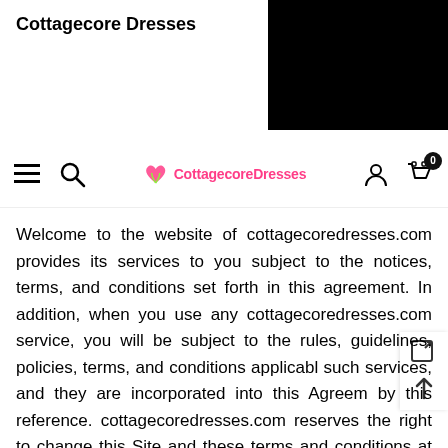Cottagecore Dresses
[Figure (screenshot): Black rectangle in upper right corner (UI chrome artifact)]
[Figure (screenshot): Navigation bar with hamburger menu, search icon, CottagecoreDresses logo in pink, user icon, and cart icon with badge showing 0]
Welcome to the website of cottagecoredresses.com provides its services to you subject to the notices, terms, and conditions set forth in this agreement. In addition, when you use any cottagecoredresses.com service, you will be subject to the rules, guidelines, policies, terms, and conditions applicabl such services, and they are incorporated into this Agreem by this reference. cottagecoredresses.com reserves the right to change this Site and these terms and conditions at any time. Accessing, browsing, or otherwise using the site indicates your agreement to all the terms and conditions in this agreement, so please read this agreement carefully before proceeding.